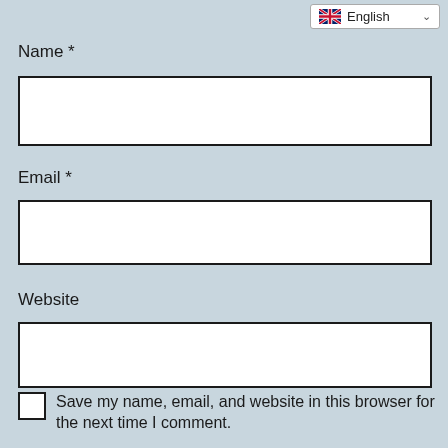[Figure (screenshot): Language selector dropdown showing UK flag and 'English' text with chevron]
Name *
[Figure (other): Empty text input field for Name]
Email *
[Figure (other): Empty text input field for Email]
Website
[Figure (other): Empty text input field for Website]
Save my name, email, and website in this browser for the next time I comment.